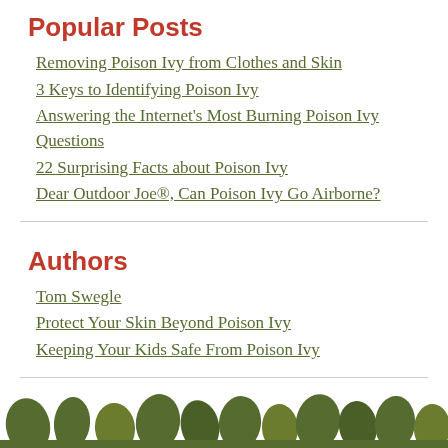Popular Posts
Removing Poison Ivy from Clothes and Skin
3 Keys to Identifying Poison Ivy
Answering the Internet's Most Burning Poison Ivy Questions
22 Surprising Facts about Poison Ivy
Dear Outdoor Joe®, Can Poison Ivy Go Airborne?
Authors
Tom Swegle
Protect Your Skin Beyond Poison Ivy
Keeping Your Kids Safe From Poison Ivy
[Figure (illustration): A decorative strip of dark olive green leaf silhouettes along the bottom of the page]